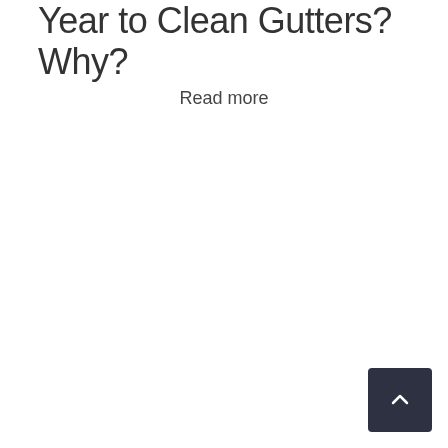Year to Clean Gutters? Why?
Read more
[Figure (other): Back to top button - dark navy square button with upward chevron arrow icon in white]